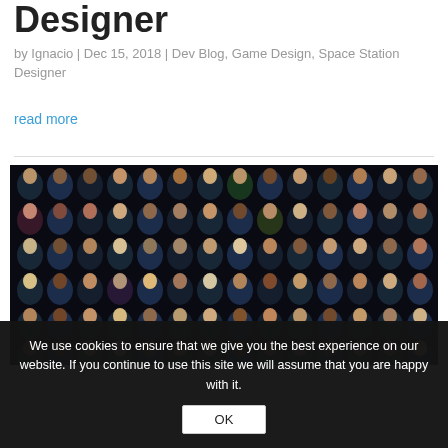Designer
by Ignacio | Dec 15, 2018 | Dev Blog, Game Design, Space Station Designer
read more
[Figure (illustration): A grid of small illustrated character portrait icons on a dark/black background, showing many diverse human faces and upper body figures arranged in rows.]
We use cookies to ensure that we give you the best experience on our website. If you continue to use this site we will assume that you are happy with it.
OK